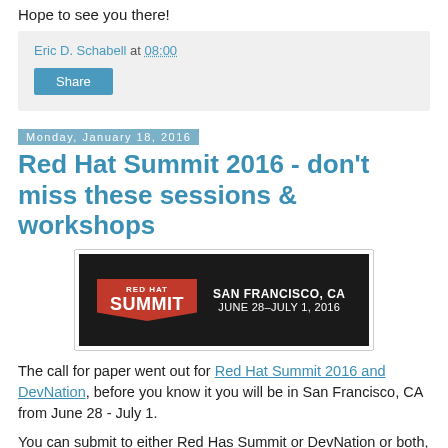Hope to see you there!
Eric D. Schabell at 08:00
Share
Monday, January 18, 2016
Red Hat Summit 2016 - don't miss these sessions & workshops
[Figure (illustration): Red Hat Summit banner: dark background with red badge showing 'RED HAT SUMMIT' and text 'SAN FRANCISCO, CA JUNE 28–JULY 1, 2016']
The call for paper went out for Red Hat Summit 2016 and DevNation, before you know it you will be in San Francisco, CA from June 28 - July 1.
You can submit to either Red Has Summit or DevNation or both, up to you.